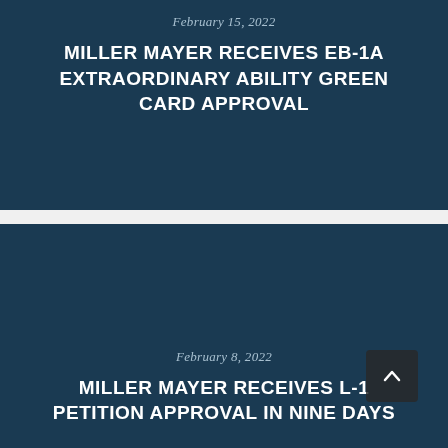February 15, 2022
MILLER MAYER RECEIVES EB-1A EXTRAORDINARY ABILITY GREEN CARD APPROVAL
February 8, 2022
MILLER MAYER RECEIVES L-1 PETITION APPROVAL IN NINE DAYS